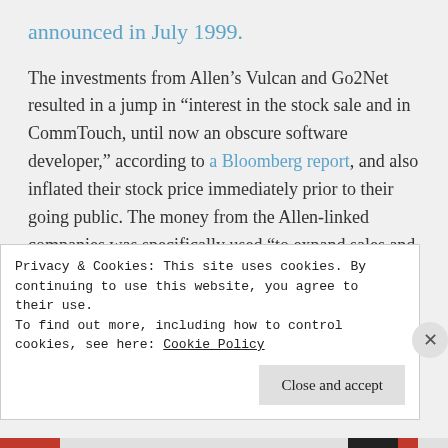announced in July 1999.
The investments from Allen’s Vulcan and Go2Net resulted in a jump in “interest in the stock sale and in CommTouch, until now an obscure software developer,” according to a Bloomberg report, and also inflated their stock price immediately prior to their going public. The money from the Allen-linked companies was specifically used “to expand sales and marketing and build its presence in
Privacy & Cookies: This site uses cookies. By continuing to use this website, you agree to their use.
To find out more, including how to control cookies, see here: Cookie Policy
Close and accept